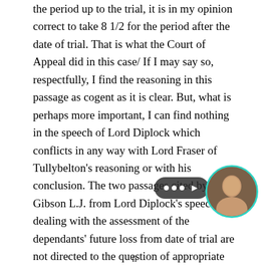the period up to the trial, it is in my opinion correct to take 8 1/2 for the period after the date of trial. That is what the Court of Appeal did in this case/ If I may say so, respectfully, I find the reasoning in this passage as cogent as it is clear. But, what is perhaps more important, I can find nothing in the speech of Lord Diplock which conflicts in any way with Lord Fraser of Tullybelton's reasoning or with his conclusion. The two passages cited by Gibson L.J. from Lord Diplock's speech dealing with the assessment of the dependants' future loss from date of trial are not directed to the question of appropriate multiplier and certainly lend no support to the doctrine that this can be calculated on the assumption that the deceased, if he had
ii